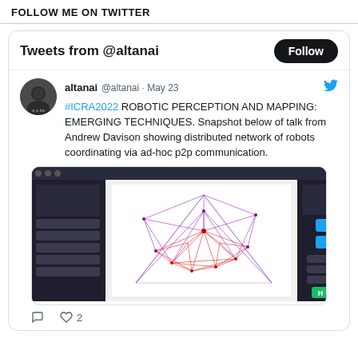FOLLOW ME ON TWITTER
Tweets from @altanai
altanai @altanai · May 23
#ICRA2022  ROBOTIC PERCEPTION AND MAPPING: EMERGING TECHNIQUES. Snapshot below of talk from  Andrew Davison showing distributed network of robots coordinating via  ad-hoc p2p communication.
[Figure (screenshot): Screenshot of a presentation slide showing a distributed robot network visualization with red and purple lines connecting nodes on a white background, displayed in a software interface with dark side panels and a video conferencing window on the right.]
♡ 2